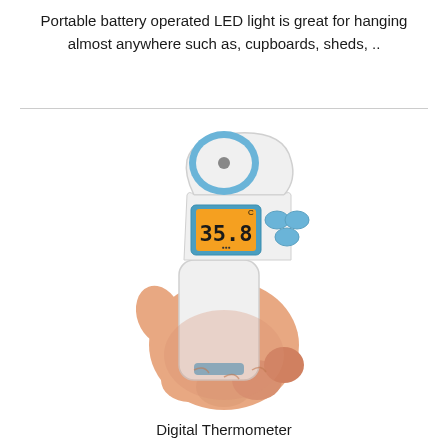Portable battery operated LED light is great for hanging almost anywhere such as, cupboards, sheds, ..
[Figure (photo): A hand holding a white and blue digital infrared thermometer gun showing a reading of 35.8 on an orange LCD display]
Digital Thermometer